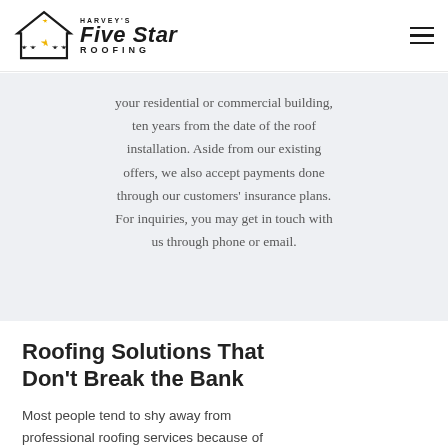Harvey's Five Star Roofing
your residential or commercial building, ten years from the date of the roof installation. Aside from our existing offers, we also accept payments done through our customers' insurance plans. For inquiries, you may get in touch with us through phone or email.
Roofing Solutions That Don't Break the Bank
Most people tend to shy away from professional roofing services because of